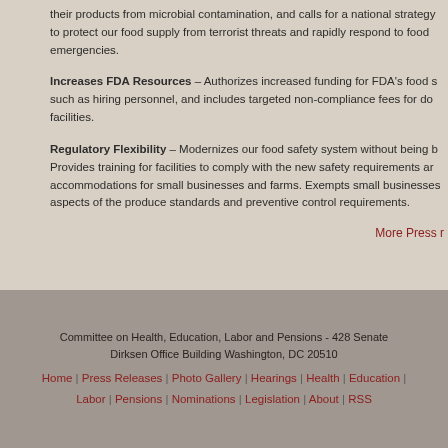their products from microbial contamination, and calls for a national strategy to protect our food supply from terrorist threats and rapidly respond to food emergencies.
Increases FDA Resources – Authorizes increased funding for FDA's food safety activities, such as hiring personnel, and includes targeted non-compliance fees for domestic and foreign facilities.
Regulatory Flexibility – Modernizes our food safety system without being burdensome. Provides training for facilities to comply with the new safety requirements and makes accommodations for small businesses and farms. Exempts small businesses from certain aspects of the produce standards and preventive control requirements.
More Press r
Committee on Health, Education, Labor and Pensions - 428 Senate Dirksen Office Building Washington, DC 20510 Home | Press Releases | Photo Gallery | Hearings | Health | Education | Labor | Pensions | Nominations | Legislation | About | RSS